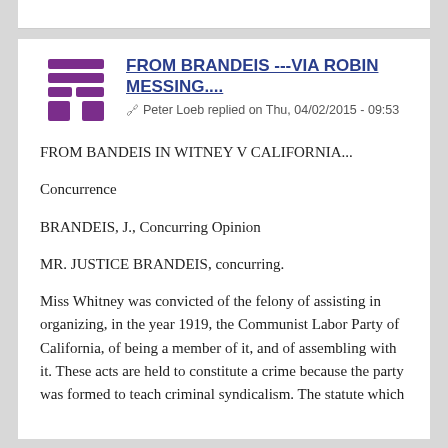[Figure (logo): Purple social media avatar icon, square shape with horizontal bars]
FROM BRANDEIS ---VIA ROBIN MESSING....
Peter Loeb replied on Thu, 04/02/2015 - 09:53
FROM BANDEIS IN WITNEY V CALIFORNIA...
Concurrence
BRANDEIS, J., Concurring Opinion
MR. JUSTICE BRANDEIS, concurring.
Miss Whitney was convicted of the felony of assisting in organizing, in the year 1919, the Communist Labor Party of California, of being a member of it, and of assembling with it. These acts are held to constitute a crime because the party was formed to teach criminal syndicalism. The statute which